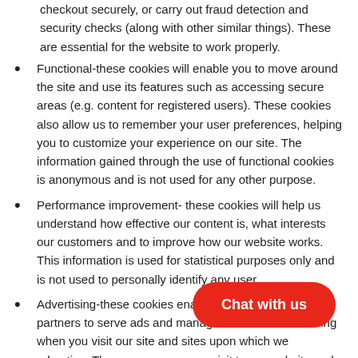checkout securely, or carry out fraud detection and security checks (along with other similar things). These are essential for the website to work properly.
Functional-these cookies will enable you to move around the site and use its features such as accessing secure areas (e.g. content for registered users). These cookies also allow us to remember your user preferences, helping you to customize your experience on our site. The information gained through the use of functional cookies is anonymous and is not used for any other purpose.
Performance improvement- these cookies will help us understand how effective our content is, what interests our customers and to improve how our website works. This information is used for statistical purposes only and is not used to personally identify any user.
Advertising-these cookies enable us and our advertising partners to serve ads and manage our online advertising when you visit our site and sites upon which we advertise. Th[...] your visit to our website and the content you[...] also be used to manage the number of tim[...] advertisement.